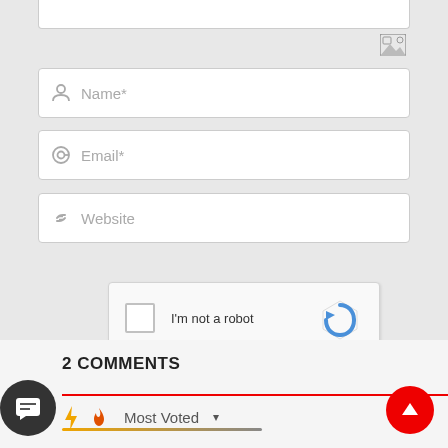[Figure (screenshot): Partial textarea (top of comment input box) with image upload icon]
[Figure (screenshot): Form field with person icon and placeholder text 'Name*']
[Figure (screenshot): Form field with @ icon and placeholder text 'Email*']
[Figure (screenshot): Form field with link icon and placeholder text 'Website']
[Figure (screenshot): reCAPTCHA widget with checkbox, 'I'm not a robot' text, reCAPTCHA logo, Privacy and Terms links]
[Figure (screenshot): Bell/notification icon button (muted) and black 'Post Comment' button]
2 COMMENTS
[Figure (screenshot): Comments section with count '2', red underline, lightning bolt, flame, and 'Most Voted' dropdown. Chat bubble icon and red scroll-to-top button.]